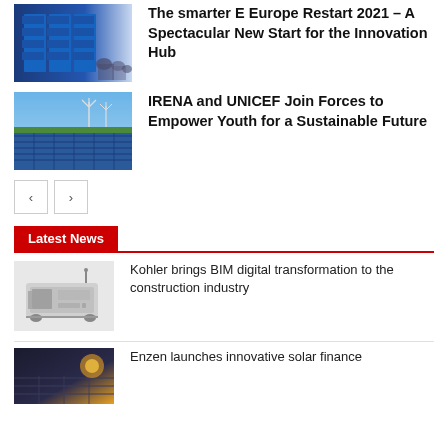[Figure (photo): Trade show / expo hall with blue signage and people]
The smarter E Europe Restart 2021 – A Spectacular New Start for the Innovation Hub
[Figure (photo): Solar panels and wind turbines under blue sky]
IRENA and UNICEF Join Forces to Empower Youth for a Sustainable Future
< >
Latest News
[Figure (photo): Kohler industrial generator unit on white background]
Kohler brings BIM digital transformation to the construction industry
[Figure (photo): Solar panels with warm sunset light]
Enzen launches innovative solar finance